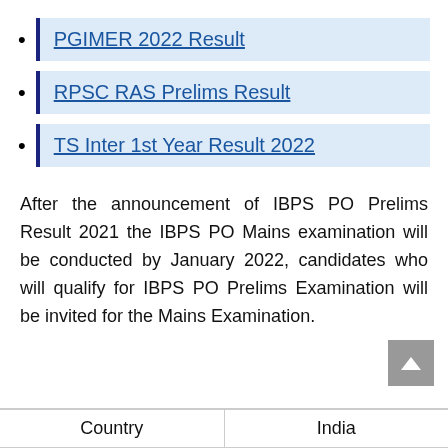PGIMER 2022 Result
RPSC RAS Prelims Result
TS Inter 1st Year Result 2022
After the announcement of IBPS PO Prelims Result 2021 the IBPS PO Mains examination will be conducted by January 2022, candidates who will qualify for IBPS PO Prelims Examination will be invited for the Mains Examination.
| Country | India |
| --- | --- |